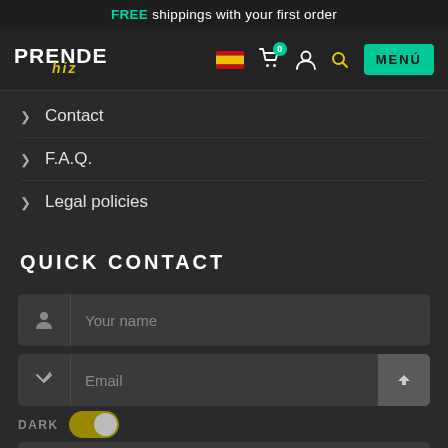FREE shippings with your first order
[Figure (screenshot): Navigation bar with Prendehiz logo, Spanish flag icon, cart icon with 0 badge, user icon, search icon, and MENÚ button]
> Contact
> F.A.Q.
> Legal policies
QUICK CONTACT
[Figure (screenshot): Contact form with Your name input field, Email input field with send button, DARK label with toggle switch, and Message textarea]